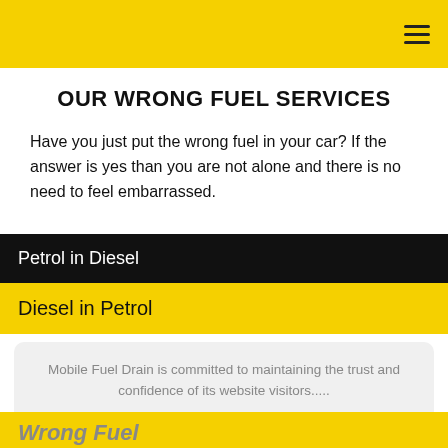[Figure (screenshot): Yellow navigation top bar with hamburger menu icon on the right]
OUR WRONG FUEL SERVICES
Have you just put the wrong fuel in your car? If the answer is yes than you are not alone and there is no need to feel embarrassed.
Petrol in Diesel
Diesel in Petrol
Mobile Fuel Drain is committed to maintaining the trust and confidence of its website visitors.....
Cookie Settings  Accept
Wrong Fuel